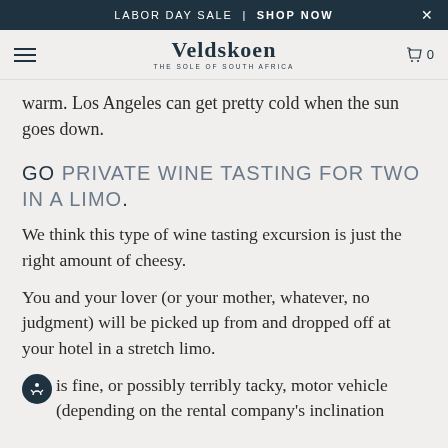LABOR DAY SALE | SHOP NOW
Veldskoen THE SOLE OF SOUTH AFRICA
warm. Los Angeles can get pretty cold when the sun goes down.
GO PRIVATE WINE TASTING FOR TWO IN A LIMO.
We think this type of wine tasting excursion is just the right amount of cheesy.
You and your lover (or your mother, whatever, no judgment) will be picked up from and dropped off at your hotel in a stretch limo.
is fine, or possibly terribly tacky, motor vehicle (depending on the rental company's inclination